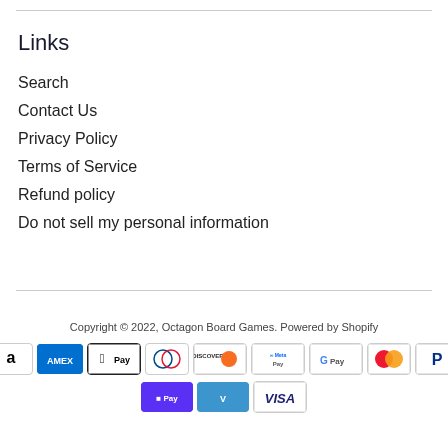Links
Search
Contact Us
Privacy Policy
Terms of Service
Refund policy
Do not sell my personal information
Copyright © 2022, Octagon Board Games. Powered by Shopify
[Figure (other): Payment method icons: Amazon, American Express, Apple Pay, Diners Club, Discover, Meta Pay, Google Pay, Mastercard, PayPal, Shop Pay, Venmo, Visa]